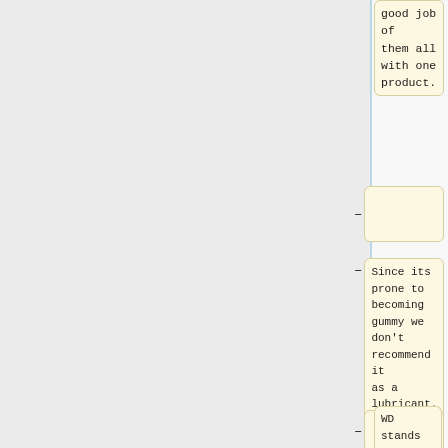good job of them all with one product.
—
Since its prone to becoming gummy we don't recommend it as a lubricant. The cans it comes in are handy.
—
===WD40===
WD stands
WD stands